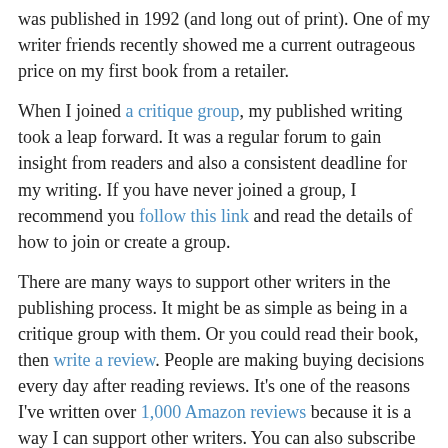was published in 1992 (and long out of print). One of my writer friends recently showed me a current outrageous price on my first book from a retailer.
When I joined a critique group, my published writing took a leap forward. It was a regular forum to gain insight from readers and also a consistent deadline for my writing. If you have never joined a group, I recommend you follow this link and read the details of how to join or create a group.
There are many ways to support other writers in the publishing process. It might be as simple as being in a critique group with them. Or you could read their book, then write a review. People are making buying decisions every day after reading reviews. It's one of the reasons I've written over 1,000 Amazon reviews because it is a way I can support other writers. You can also subscribe to their newsletter (then when it comes pass it on to others). You can reach out to others with a phone call or email to check in with them—and see how they are doing with their writing. Admittedly 202o with a world-wide pandemic has